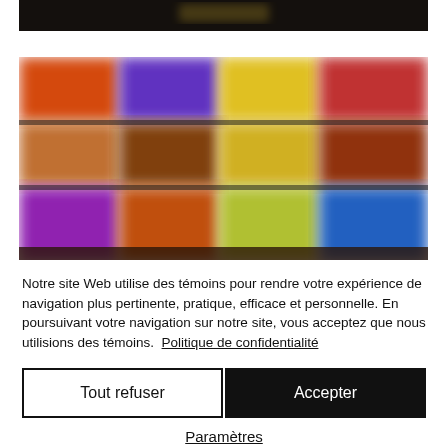[Figure (photo): Cropped blurred dark image strip at the top of the page]
[Figure (photo): Blurred colorful grid of images showing various bright-colored thumbnails arranged in rows and columns]
Notre site Web utilise des témoins pour rendre votre expérience de navigation plus pertinente, pratique, efficace et personnelle. En poursuivant votre navigation sur notre site, vous acceptez que nous utilisions des témoins.  Politique de confidentialité
Tout refuser
Accepter
Paramètres